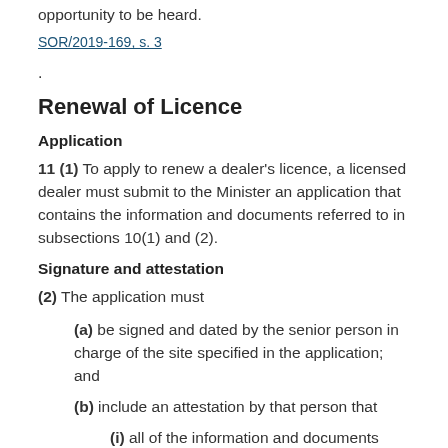opportunity to be heard.
SOR/2019-169, s. 3.
Renewal of Licence
Application
11 (1) To apply to renew a dealer's licence, a licensed dealer must submit to the Minister an application that contains the information and documents referred to in subsections 10(1) and (2).
Signature and attestation
(2) The application must
(a) be signed and dated by the senior person in charge of the site specified in the application; and
(b) include an attestation by that person that
(i) all of the information and documents submitted in support of the application are correct and complete to the best of their